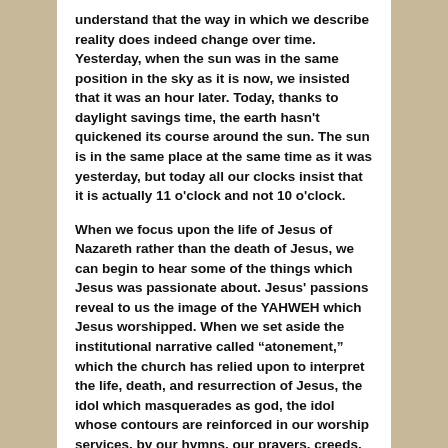understand that the way in which we describe reality does indeed change over time. Yesterday, when the sun was in the same position in the sky as it is now, we insisted that it was an hour later. Today, thanks to daylight savings time, the earth hasn't quickened its course around the sun. The sun is in the same place at the same time as it was yesterday, but today all our clocks insist that it is actually 11 o'clock and not 10 o'clock.
When we focus upon the life of Jesus of Nazareth rather than the death of Jesus, we can begin to hear some of the things which Jesus was passionate about. Jesus' passions reveal to us the image of the YAHWEH which Jesus worshipped. When we set aside the institutional narrative called “atonement,” which the church has relied upon to interpret the life, death, and resurrection of Jesus, the idol which masquerades as god, the idol whose contours are reinforced in our worship services, by our hymns, our prayers, creeds, choice of scripture readings, and